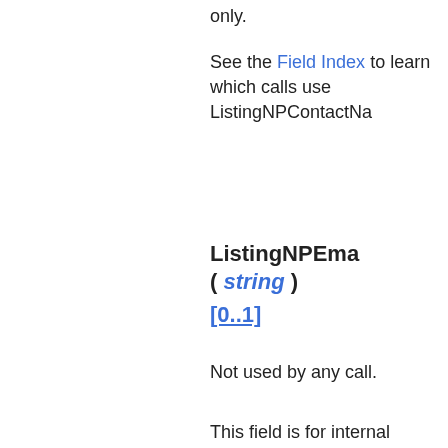only.
See the Field Index to learn which calls use ListingNPContactNa
ListingNPEma ( string ) [0..1]
Not used by any call.
This field is for internal use only.
See the Field